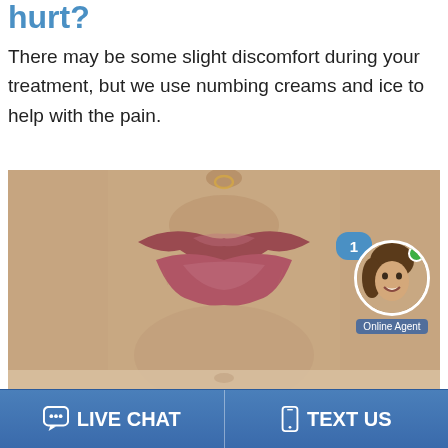hurt?
There may be some slight discomfort during your treatment, but we use numbing creams and ice to help with the pain.
[Figure (photo): Close-up photograph of a person's lower face showing lips and chin area, likely before/after a lip filler or cosmetic treatment. An online chat agent badge with notification bubble showing '1' and a green online indicator overlaid in the bottom-right corner.]
LIVE CHAT   TEXT US